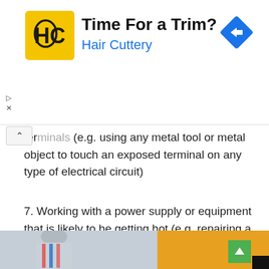[Figure (other): Hair Cuttery advertisement banner with yellow logo (HC), title 'Time For a Trim?', subtitle 'Hair Cuttery', and blue navigation diamond icon on the right.]
terminals (e.g. using any metal tool or metal object to touch an exposed terminal on any type of electrical circuit)
7. Working with a power supply or equipment that is likely to be getting hot (e.g. repairing a generator, furnace, heating system, washing machine, air conditioner or alternative energy source).
4. Freezer work
[Figure (photo): Bottom strip showing a partial photo of a person working (left side, grey/blue tones) and an orange/amber colored panel (right side) with a black corner element and green scroll-up button.]